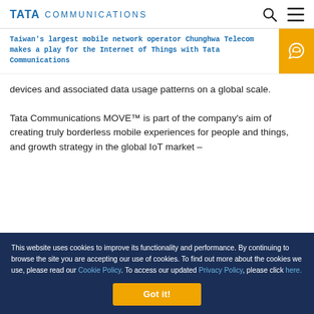TATA COMMUNICATIONS
Taiwan's largest mobile network operator Chunghwa Telecom makes a play for the Internet of Things with Tata Communications
devices and associated data usage patterns on a global scale.
Tata Communications MOVE™ is part of the company's aim of creating truly borderless mobile experiences for people and things, and growth strategy in the global IoT market –
This website uses cookies to improve its functionality and performance. By continuing to browse the site you are accepting our use of cookies. To find out more about the cookies we use, please read our Cookie Policy. To access our updated Privacy Policy, please click here.